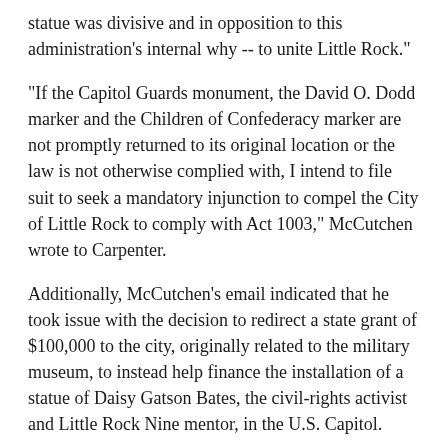statue was divisive and in opposition to this administration's internal why -- to unite Little Rock."
"If the Capitol Guards monument, the David O. Dodd marker and the Children of Confederacy marker are not promptly returned to its original location or the law is not otherwise complied with, I intend to file suit to seek a mandatory injunction to compel the City of Little Rock to comply with Act 1003," McCutchen wrote to Carpenter.
Additionally, McCutchen's email indicated that he took issue with the decision to redirect a state grant of $100,000 to the city, originally related to the military museum, to instead help finance the installation of a statue of Daisy Gatson Bates, the civil-rights activist and Little Rock Nine mentor, in the U.S. Capitol.
"We are also researching whether an illegal exaction suit is appropriate in light of the fact that Little Rock chose (wrongfully in our opinion) to redirect funds from the park